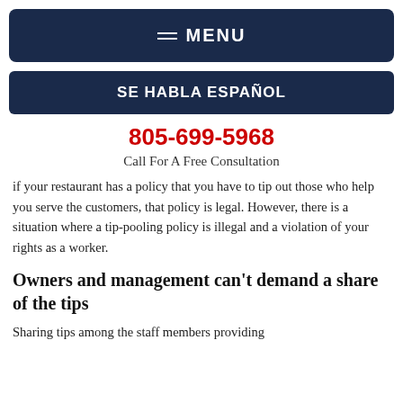≡ MENU
SE HABLA ESPAÑOL
805-699-5968
Call For A Free Consultation
if your restaurant has a policy that you have to tip out those who help you serve the customers, that policy is legal. However, there is a situation where a tip-pooling policy is illegal and a violation of your rights as a worker.
Owners and management can't demand a share of the tips
Sharing tips among the staff members providing